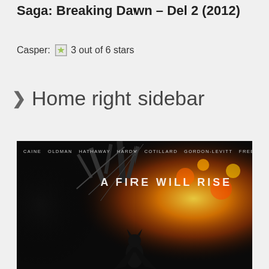Saga: Breaking Dawn – Del 2 (2012)
Casper: 3 out of 6 stars
Home right sidebar
[Figure (photo): The Dark Knight Rises movie poster showing Batman silhouette against an explosion with text 'A FIRE WILL RISE' and cast names BALE CAINE OLDMAN HATHAWAY HARDY COTILLARD GORDON-LEVITT FREEMAN]